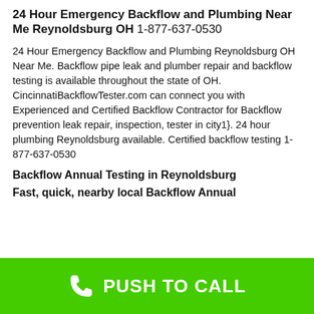24 Hour Emergency Backflow and Plumbing Near Me Reynoldsburg OH 1-877-637-0530
24 Hour Emergency Backflow and Plumbing Reynoldsburg OH Near Me. Backflow pipe leak and plumber repair and backflow testing is available throughout the state of OH. CincinnatiBackflowTester.com can connect you with Experienced and Certified Backflow Contractor for Backflow prevention leak repair, inspection, tester in city1}. 24 hour plumbing Reynoldsburg available. Certified backflow testing 1-877-637-0530
Backflow Annual Testing in Reynoldsburg
Fast, quick, nearby local Backflow Annual
PUSH TO CALL